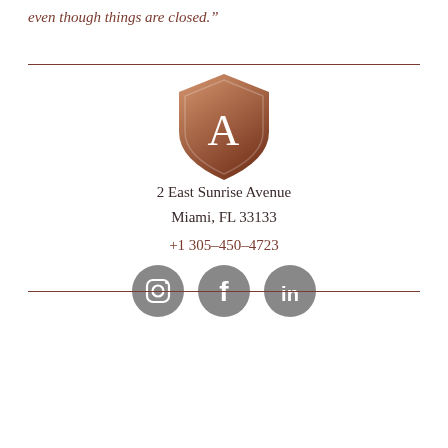even though things are closed.”
[Figure (logo): Copper/bronze shield logo with letter A in the center]
2 East Sunrise Avenue
Miami, FL 33133
+1 305-450-4723
[Figure (other): Three social media icons: Instagram, Facebook, LinkedIn in gray circles]